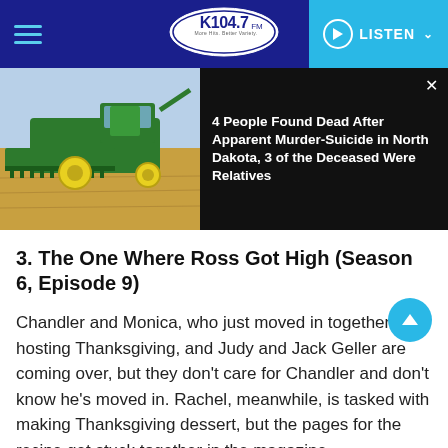K104.7 FM — Navigation bar with hamburger menu, logo, and LISTEN button
[Figure (screenshot): News banner showing a combine harvester in a field on the left, and a news headline on the right: '4 People Found Dead After Apparent Murder-Suicide in North Dakota, 3 of the Deceased Were Relatives']
3. The One Where Ross Got High (Season 6, Episode 9)
Chandler and Monica, who just moved in together, are hosting Thanksgiving, and Judy and Jack Geller are coming over, but they don't care for Chandler and don't know he's moved in. Rachel, meanwhile, is tasked with making Thanksgiving dessert, but the pages for the recipe get stuck together in the magazine